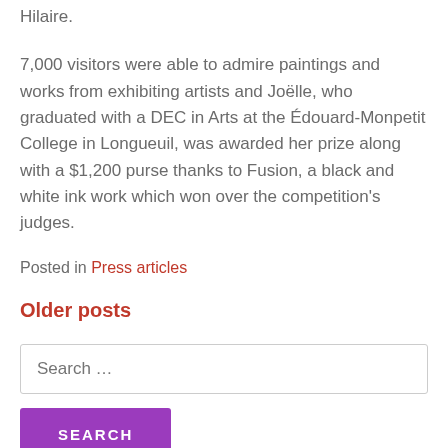Hilaire.
7,000 visitors were able to admire paintings and works from exhibiting artists and Joëlle, who graduated with a DEC in Arts at the Édouard-Monpetit College in Longueuil, was awarded her prize along with a $1,200 purse thanks to Fusion, a black and white ink work which won over the competition's judges.
Posted in Press articles
Older posts
Search …